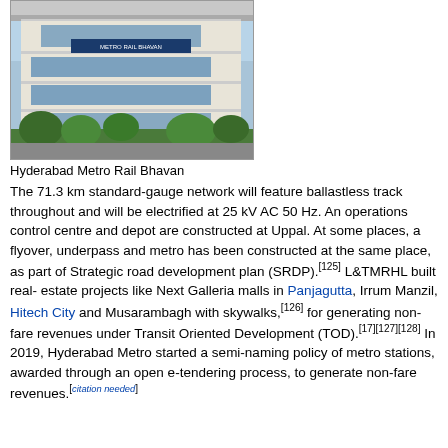[Figure (photo): Photo of Hyderabad Metro Rail Bhavan building, a multi-story white commercial/office building with blue glass windows and signage reading 'METRO RAIL BHAVAN', surrounded by trees and sky.]
Hyderabad Metro Rail Bhavan
The 71.3 km standard-gauge network will feature ballastless track throughout and will be electrified at 25 kV AC 50 Hz. An operations control centre and depot are constructed at Uppal. At some places, a flyover, underpass and metro has been constructed at the same place, as part of Strategic road development plan (SRDP).[125] L&TMRHL built real-estate projects like Next Galleria malls in Panjagutta, Irrum Manzil, Hitech City and Musarambagh with skywalks,[126] for generating non-fare revenues under Transit Oriented Development (TOD).[17][127][128] In 2019, Hyderabad Metro started a semi-naming policy of metro stations, awarded through an open e-tendering process, to generate non-fare revenues.[citation needed]